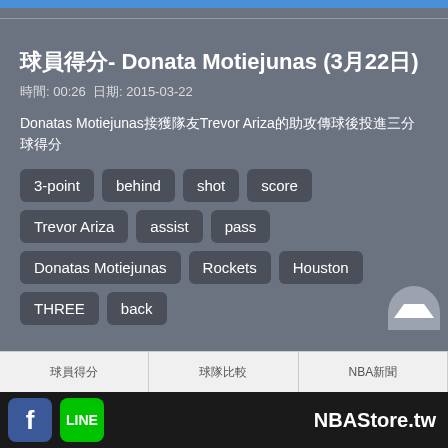球員得分- Donata Motiejunas (3月22日)
時間: 00:26 日期: 2015-03-22
Donatas Motiejunas接獲隊友Trevor Ariza的助攻傳球後投進三分球得分
3-point
behind
shot
score
Trevor Ariza
assist
pass
Donatas Motiejunas
Rockets
Houston
THREE
back
f LINE NBAStore.tw